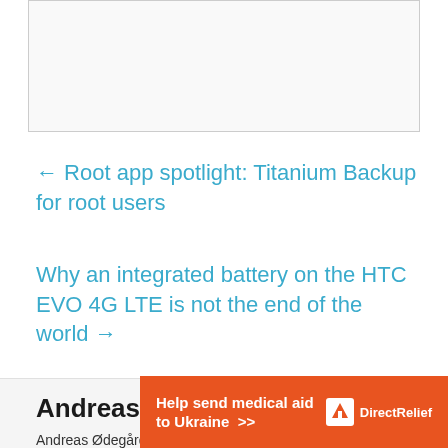[Figure (other): Top content box placeholder / image area]
← Root app spotlight: Titanium Backup for root users
Why an integrated battery on the HTC EVO 4G LTE is not the end of the world →
Andreas Ødegård
Andreas Ødegård is more interested in aftermarket (and user created) software and hardware than
[Figure (other): Advertisement banner: Help send medical aid to Ukraine — Direct Relief]